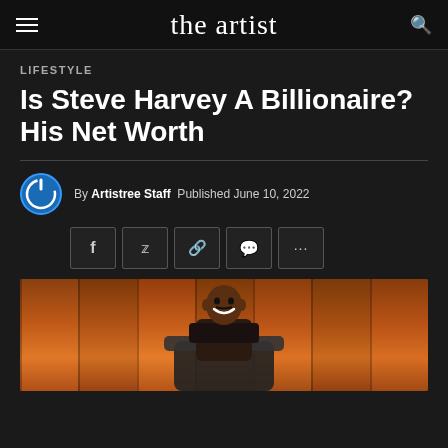The Artistree — navigation header with hamburger menu and search icon
LIFESTYLE
Is Steve Harvey A Billionaire? His Net Worth
By Artistree Staff  Published  June 10, 2022
[Figure (other): Social sharing buttons: Facebook, Twitter, link, comment, more (...)]
[Figure (photo): Steve Harvey seated in a chair, smiling, against a warm orange wooden panel background]